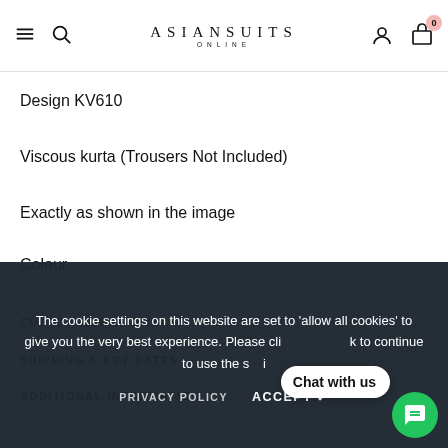ASIANSUITSONNLINE — navigation header with hamburger menu, search, user icon, and cart (0)
Design KV610
Viscous kurta (Trousers Not Included)
Exactly as shown in the image
Colour
CUSTOMER REVIEWS
SHIPPING & KEY DATES
ADDITIONAL INFORMATION
The cookie settings on this website are set to 'allow all cookies' to give you the very best experience. Please click ACCEPT to continue to use the site.
PRIVACY POLICY
ACCEPT ✔
Chat with us